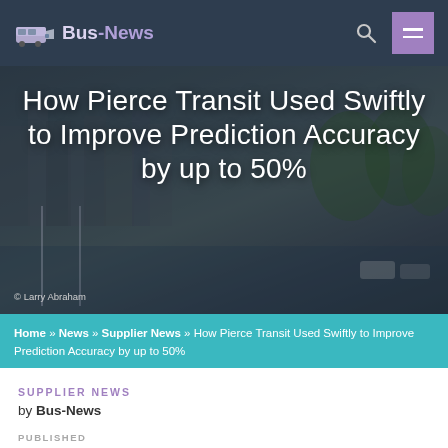Bus-News
How Pierce Transit Used Swiftly to Improve Prediction Accuracy by up to 50%
© Larry Abraham
Home » News » Supplier News » How Pierce Transit Used Swiftly to Improve Prediction Accuracy by up to 50%
SUPPLIER NEWS
by Bus-News
PUBLISHED